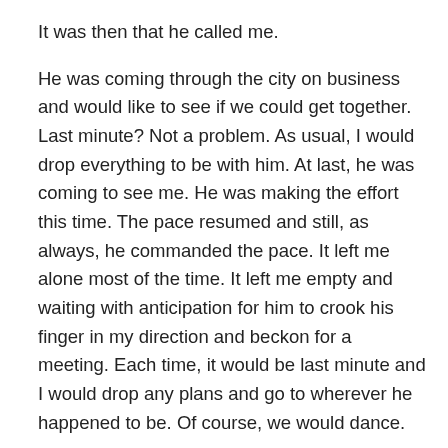It was then that he called me.
He was coming through the city on business and would like to see if we could get together. Last minute? Not a problem. As usual, I would drop everything to be with him. At last, he was coming to see me. He was making the effort this time. The pace resumed and still, as always, he commanded the pace. It left me alone most of the time. It left me empty and waiting with anticipation for him to crook his finger in my direction and beckon for a meeting. Each time, it would be last minute and I would drop any plans and go to wherever he happened to be. Of course, we would dance.
My need for this illusion increased with each time we were together. But I also chafed under the strict but unspoken rules I was always following to be in the pleasure of his